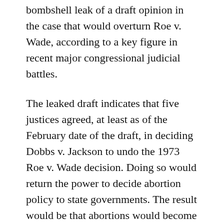bombshell leak of a draft opinion in the case that would overturn Roe v. Wade, according to a key figure in recent major congressional judicial battles.
The leaked draft indicates that five justices agreed, at least as of the February date of the draft, in deciding Dobbs v. Jackson to undo the 1973 Roe v. Wade decision. Doing so would return the power to decide abortion policy to state governments. The result would be that abortions would become generally available in some states and much less available, or perhaps not at all, in other states.
“Over the past several years, we have watched the radical left become increasingly brazen in their attempts to delegitimize and bully our nation’s highest